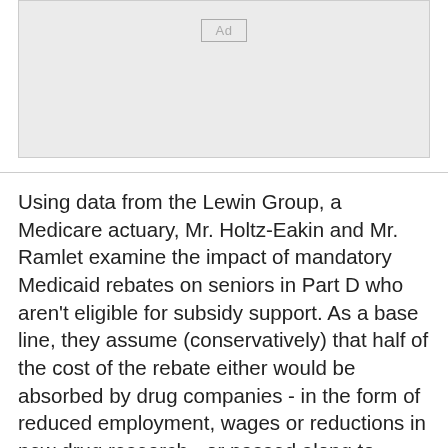[Figure (other): Advertisement placeholder box with 'Ad' label]
Using data from the Lewin Group, a Medicare actuary, Mr. Holtz-Eakin and Mr. Ramlet examine the impact of mandatory Medicaid rebates on seniors in Part D who aren't eligible for subsidy support. As a base line, they assume (conservatively) that half of the cost of the rebate either would be absorbed by drug companies - in the form of reduced employment, wages or reductions in new drug research - or passed along to consumers